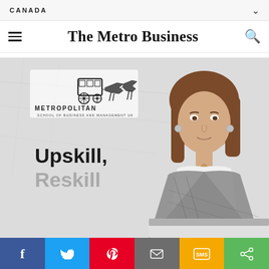CANADA
The Metro Business
[Figure (photo): Advertisement banner for Metropolitan School of Business and Management UK showing a young woman in a plaid blazer at a laptop with the text 'Upskill, Reskill' and the Metropolitan school logo with horse carriage emblem.]
Social share bar: Facebook, Twitter, Pinterest, Email, SMS, Share